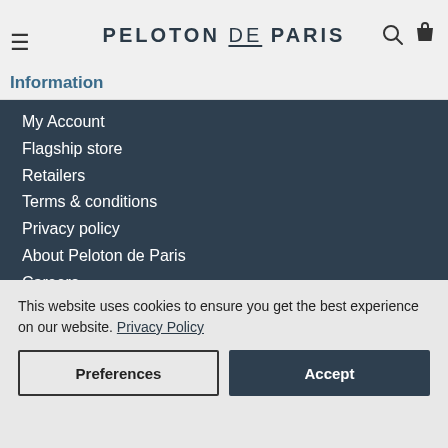PELOTON DE PARIS — Information
My Account
Flagship store
Retailers
Terms & conditions
Privacy policy
About Peloton de Paris
Careers
Customer Service
Size guide
Shipping
This website uses cookies to ensure you get the best experience on our website. Privacy Policy
Preferences | Accept